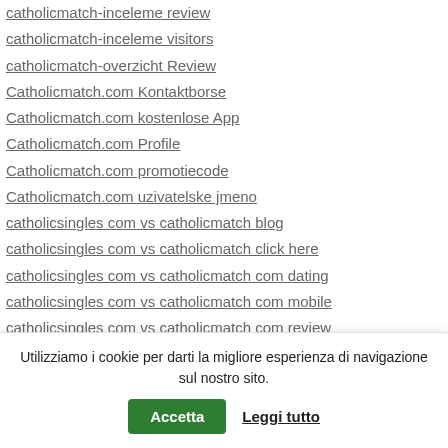catholicmatch-inceleme review
catholicmatch-inceleme visitors
catholicmatch-overzicht Review
Catholicmatch.com Kontaktborse
Catholicmatch.com kostenlose App
Catholicmatch.com Profile
Catholicmatch.com promotiecode
Catholicmatch.com uzivatelske jmeno
catholicsingles com vs catholicmatch blog
catholicsingles com vs catholicmatch click here
catholicsingles com vs catholicmatch com dating
catholicsingles com vs catholicmatch com mobile
catholicsingles com vs catholicmatch com review
catholicsingles com vs catholicmatch com reviews
catholicsingles com vs catholicmatch com sign in
Utilizziamo i cookie per darti la migliore esperienza di navigazione sul nostro sito.
Accetta
Leggi tutto